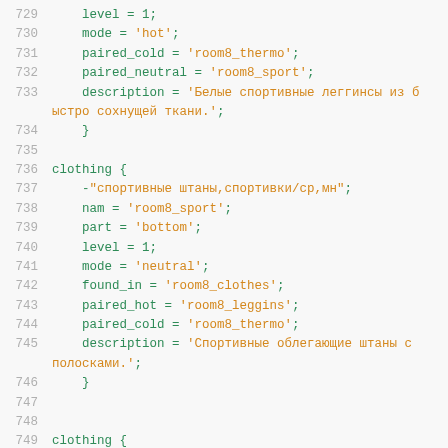Code listing lines 729-749 showing clothing object definitions in a custom scripting language with Russian string values.